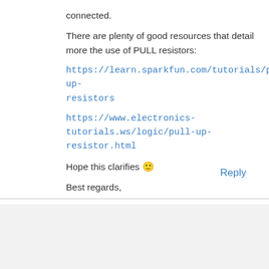connected.
There are plenty of good resources that detail more the use of PULL resistors:
https://learn.sparkfun.com/tutorials/pull-up-resistors
https://www.electronics-tutorials.ws/logic/pull-up-resistor.html
Hope this clarifies 🙂
Best regards,
Nuno Santos
Reply
MEROVATIS
SEPTEMBER 8, 2018 AT 2:53 PM